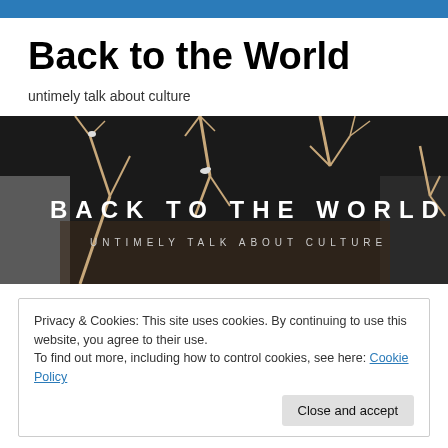Back to the World
untimely talk about culture
[Figure (photo): Dark room installation with bare tree branches and white text reading 'BACK TO THE WORLD' and 'UNTIMELY TALK ABOUT CULTURE' on a black background with birds perched on branches.]
Privacy & Cookies: This site uses cookies. By continuing to use this website, you agree to their use.
To find out more, including how to control cookies, see here: Cookie Policy
Close and accept